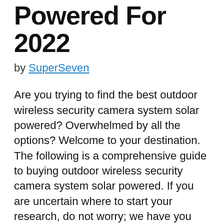Powered For 2022
by SuperSeven
Are you trying to find the best outdoor wireless security camera system solar powered? Overwhelmed by all the options? Welcome to your destination. The following is a comprehensive guide to buying outdoor wireless security camera system solar powered. If you are uncertain where to start your research, do not worry; we have you covered.
The sheer number of options out there makes going through thousands of reviews extremely frustrating. Look over